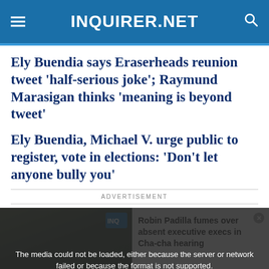INQUIRER.NET
Ely Buendia says Eraserheads reunion tweet 'half-serious joke'; Raymund Marasigan thinks 'meaning is beyond tweet'
Ely Buendia, Michael V. urge public to register, vote in elections: 'Don't let anyone bully you'
ADVERTISEMENT
[Figure (screenshot): Video player showing Robin Padilla fumes over absent executive execs in Cha-cha hearing with error overlay: The media could not be loaded, either because the server or network failed or because the format is not supported.]
Robin Padilla fumes over absent executive execs in Cha-cha hearing